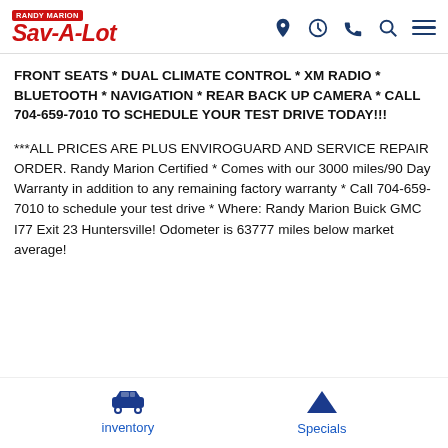Randy Marion Sav-A-Lot [logo with location, clock, phone, search, menu icons]
FRONT SEATS * DUAL CLIMATE CONTROL * XM RADIO * BLUETOOTH * NAVIGATION * REAR BACK UP CAMERA * CALL 704-659-7010 TO SCHEDULE YOUR TEST DRIVE TODAY!!!
***ALL PRICES ARE PLUS ENVIROGUARD AND SERVICE REPAIR ORDER. Randy Marion Certified * Comes with our 3000 miles/90 Day Warranty in addition to any remaining factory warranty * Call 704-659-7010 to schedule your test drive * Where: Randy Marion Buick GMC I77 Exit 23 Huntersville! Odometer is 63777 miles below market average!
inventory  Specials